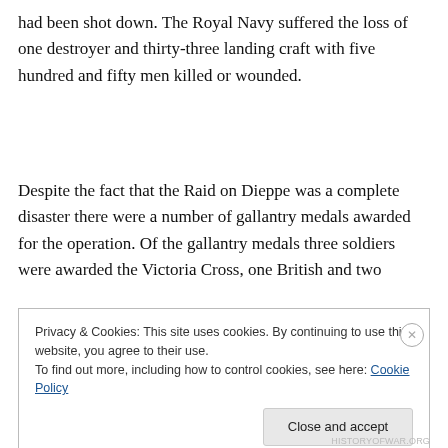had been shot down. The Royal Navy suffered the loss of one destroyer and thirty-three landing craft with five hundred and fifty men killed or wounded.
Despite the fact that the Raid on Dieppe was a complete disaster there were a number of gallantry medals awarded for the operation. Of the gallantry medals three soldiers were awarded the Victoria Cross, one British and two
Privacy & Cookies: This site uses cookies. By continuing to use this website, you agree to their use.
To find out more, including how to control cookies, see here: Cookie Policy
[Close and accept]